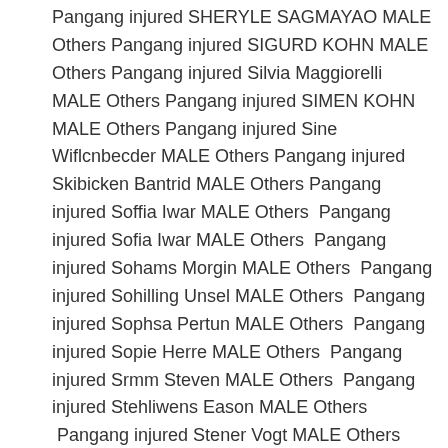Pangang injured SHERYLE SAGMAYAO MALE Others Pangang injured SIGURD KOHN MALE Others Pangang injured Silvia Maggiorelli MALE Others Pangang injured SIMEN KOHN MALE Others Pangang injured Sine Wiflcnbecder MALE Others Pangang injured Skibicken Bantrid MALE Others Pangang injured Soffia Iwar MALE Others  Pangang injured Sofia Iwar MALE Others  Pangang injured Sohams Morgin MALE Others  Pangang injured Sohilling Unsel MALE Others  Pangang injured Sophsa Pertun MALE Others  Pangang injured Sopie Herre MALE Others  Pangang injured Srmm Steven MALE Others  Pangang injured Stehliwens Eason MALE Others  Pangang injured Stener Vogt MALE Others  Pangang injured Stephan Sandnen MALE Others  Pangang injured STEPHARY GARBER MALE Others  Pangang injured Stiensmeier MALE Others Pangang injured Stig Werkerin MALE Others